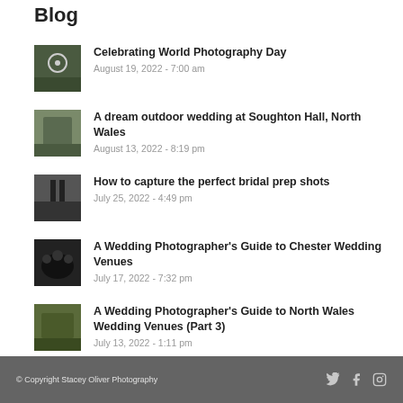Blog
Celebrating World Photography Day
August 19, 2022 - 7:00 am
A dream outdoor wedding at Soughton Hall, North Wales
August 13, 2022 - 8:19 pm
How to capture the perfect bridal prep shots
July 25, 2022 - 4:49 pm
A Wedding Photographer's Guide to Chester Wedding Venues
July 17, 2022 - 7:32 pm
A Wedding Photographer's Guide to North Wales Wedding Venues (Part 3)
July 13, 2022 - 1:11 pm
© Copyright Stacey Oliver Photography